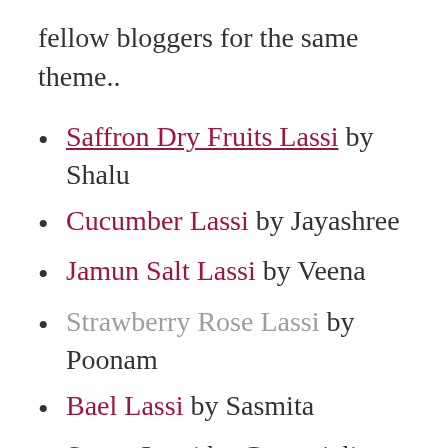fellow bloggers for the same theme..
Saffron Dry Fruits Lassi by Shalu
Cucumber Lassi by Jayashree
Jamun Salt Lassi by Veena
Strawberry Rose Lassi by Poonam
Bael Lassi by Sasmita
Sweet Lassi by Geetanjali
Pineapple Mint Lassi by Swety